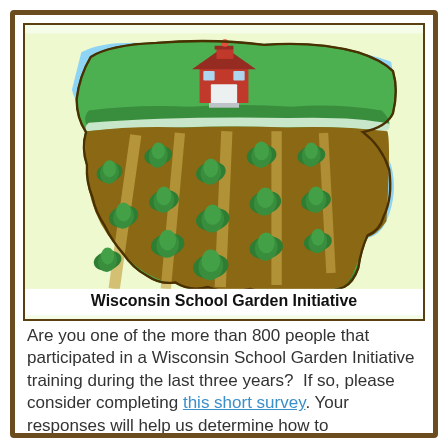[Figure (illustration): Wisconsin School Garden Initiative logo: outline of Wisconsin state filled with garden rows showing green plants sprouting from brown soil, a red schoolhouse at top, blue sky above, and a blue river/lake on the right side. Text 'Wisconsin School Garden Initiative' at the bottom of the illustration box.]
Are you one of the more than 800 people that participated in a Wisconsin School Garden Initiative training during the last three years?  If so, please consider completing this short survey. Your responses will help us determine how to